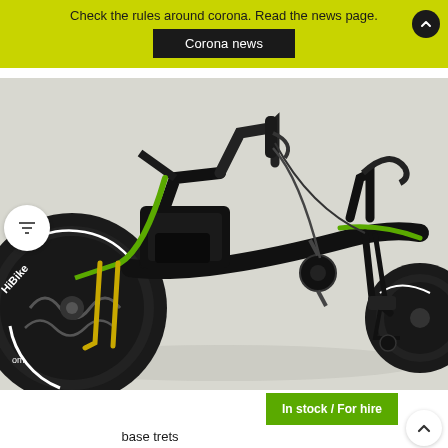Check the rules around corona. Read the news page. Corona news
[Figure (photo): Close-up photo of a green and black electric recumbent trike / three-wheeled bicycle with fat tires, showing the frame, handlebars, front wheel (with HiBike branding), pedal crank, and components against a light grey background.]
In stock / For hire
base trets